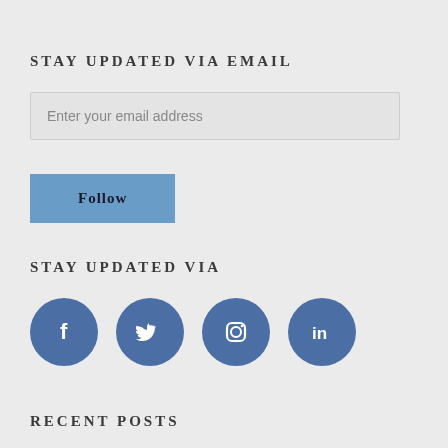STAY UPDATED VIA EMAIL
Enter your email address
Follow
STAY UPDATED VIA
[Figure (infographic): Four social media icon circles: Facebook (f), Twitter (bird), Instagram (camera), LinkedIn (in), all in dark blue (#4b6fa5)]
RECENT POSTS